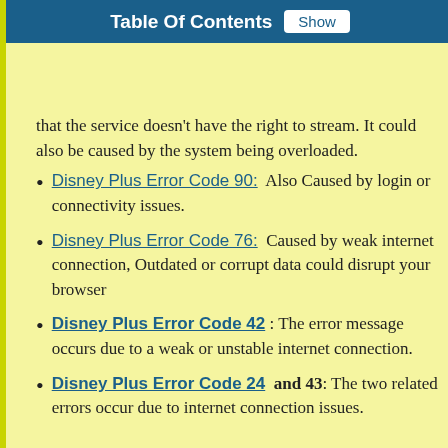Table Of Contents  Show
that the service doesn't have the right to stream. It could also be caused by the system being overloaded.
Disney Plus Error Code 90:  Also Caused by login or connectivity issues.
Disney Plus Error Code 76:  Caused by weak internet connection, Outdated or corrupt data could disrupt your browser
Disney Plus Error Code 42 : The error message occurs due to a weak or unstable internet connection.
Disney Plus Error Code 24  and 43: The two related errors occur due to internet connection issues.